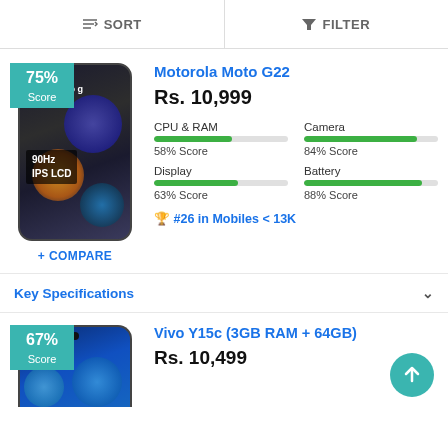SORT   FILTER
[Figure (photo): Motorola Moto G22 smartphone product image with 75% Score badge, showing 90Hz IPS LCD label, Moto logo]
Motorola Moto G22
Rs. 10,999
CPU & RAM
58% Score
Camera
84% Score
Display
63% Score
Battery
88% Score
#26 in Mobiles < 13K
+ COMPARE
Key Specifications
[Figure (photo): Vivo Y15c (3GB RAM + 64GB) smartphone product image with 67% Score badge]
Vivo Y15c (3GB RAM + 64GB)
Rs. 10,499